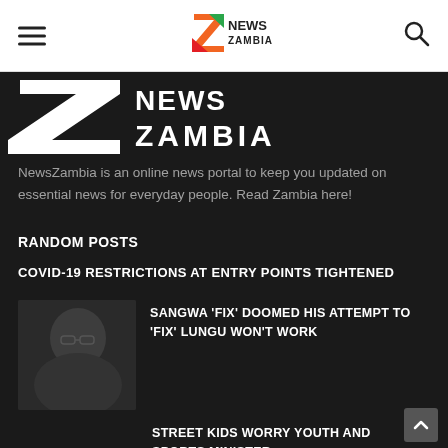ZNews Zambia navigation bar with hamburger menu and search icon
[Figure (logo): Z NEWS ZAMBIA large white logo on dark background]
NewsZambia is an online news portal to keep you updated on essential news for everyday people. Read Zambia here!
RANDOM POSTS
COVID-19 RESTRICTIONS AT ENTRY POINTS TIGHTENED
[Figure (photo): Dark photo of a man wearing glasses, partial face visible]
SANGWA 'FIX' DOOMED HIS ATTEMPT TO 'FIX' LUNGU WON'T WORK
STREET KIDS WORRY YOUTH AND SPORTS MINISTER